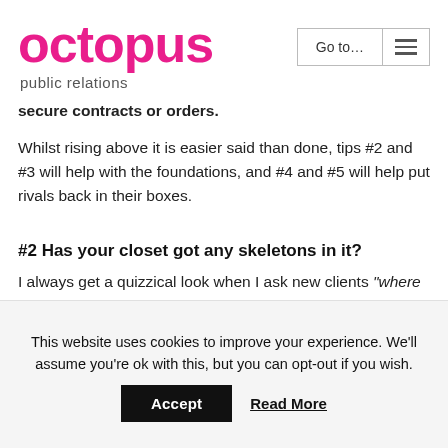octopus public relations
secure contracts or orders.
Whilst rising above it is easier said than done, tips #2 and #3 will help with the foundations, and #4 and #5 will help put rivals back in their boxes.
#2 Has your closet got any skeletons in it?
I always get a quizzical look when I ask new clients “where are the bodies buried?” as part of my PR induction process. It’s a bit dramatic, but you get the point.
There’s nothing worse for us PR folk than to be working for a client and to have an issue that we were unaware of bite us on the ass. This is especially embarrassing and
This website uses cookies to improve your experience. We’ll assume you’re ok with this, but you can opt-out if you wish.